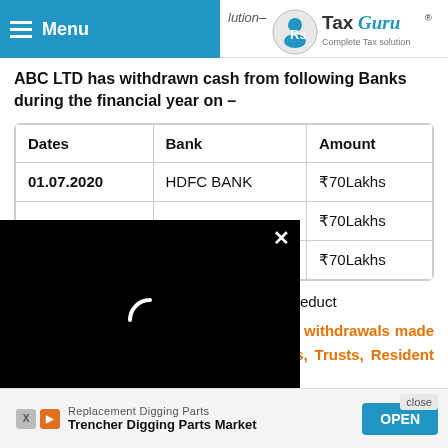Menu | TaxGuru - Complete Tax Solution
ABC LTD has withdrawn cash from following Banks during the financial year on –
| Dates | Bank | Amount |
| --- | --- | --- |
| 01.07.2020 | HDFC BANK | ₹70Lakhs |
|  |  | ₹70Lakhs |
|  | NDIA | ₹70Lakhs |
banks is liable to deduct
11. Whether TDS is applicable for cash withdrawals made by Charitable Institutions, Clubs, AOPs, Trusts, Resident Welfare Ass…
If …ned